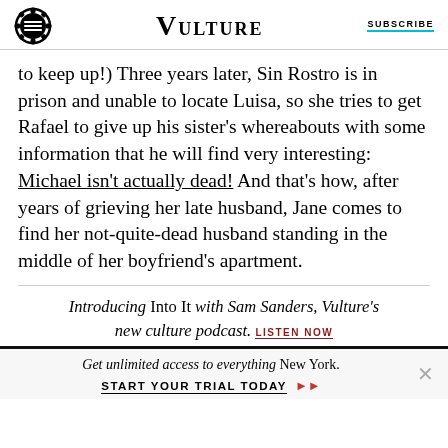VULTURE | SUBSCRIBE
to keep up!) Three years later, Sin Rostro is in prison and unable to locate Luisa, so she tries to get Rafael to give up his sister's whereabouts with some information that he will find very interesting: Michael isn't actually dead! And that's how, after years of grieving her late husband, Jane comes to find her not-quite-dead husband standing in the middle of her boyfriend's apartment.
Introducing Into It with Sam Sanders, Vulture's new culture podcast. LISTEN NOW
Get unlimited access to everything New York. START YOUR TRIAL TODAY ▶▶